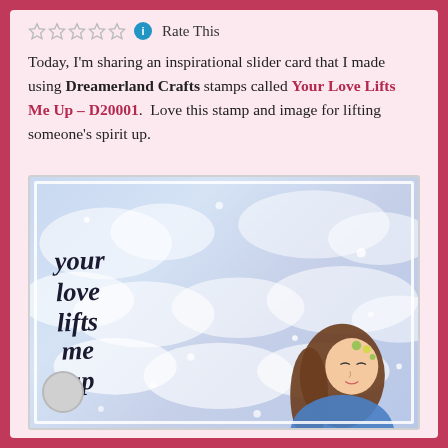Rate This
Today, I'm sharing an inspirational slider card that I made using Dreamerland Crafts stamps called Your Love Lifts Me Up – D20001.  Love this stamp and image for lifting someone's spirit up.
[Figure (photo): A handmade slider card with a sky and clouds background in blue and white tones. Cursive black script reads 'your love lifts me up' on the left side. A illustrated girl figure with long brown hair, wearing blue, is visible in the bottom right corner. A circular slider mechanism is visible at the lower left. The card has a white border frame.]